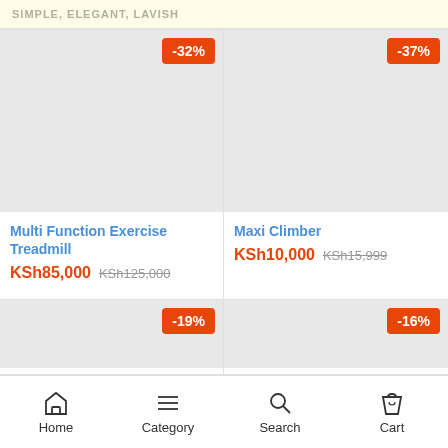SIMPLE, ELEGANT, LAVISH
[Figure (screenshot): Product image placeholder for Multi Function Exercise Treadmill with -32% discount badge]
Multi Function Exercise Treadmill
KSh85,000 KSh125,000
[Figure (screenshot): Product image placeholder for Maxi Climber with -37% discount badge]
Maxi Climber
KSh10,000 KSh15,999
[Figure (screenshot): Product image placeholder with -19% discount badge]
[Figure (screenshot): Product image placeholder with -16% discount badge]
Home  Category  Search  Cart